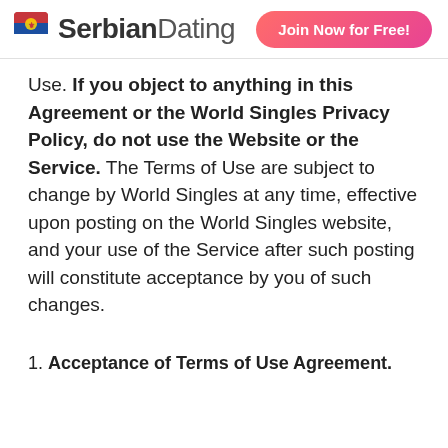[Figure (logo): Serbian Dating website logo with Serbian flag icon and 'SerbianDating' text, plus a 'Join Now for Free!' button in pink/red gradient]
Use. If you object to anything in this Agreement or the World Singles Privacy Policy, do not use the Website or the Service. The Terms of Use are subject to change by World Singles at any time, effective upon posting on the World Singles website, and your use of the Service after such posting will constitute acceptance by you of such changes.
1. Acceptance of Terms of Use Agreement.